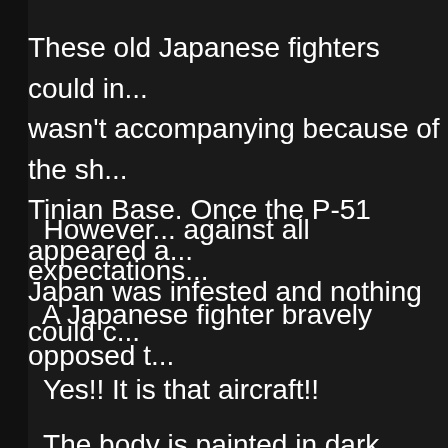These old Japanese fighters could in... wasn't accompanying because of the sh... Tinian Base. Once the P-51 appeared a... Japan was infested and nothing could c...
However... against all expectations...
A Japanese fighter bravely opposed t...
Yes!! It is that aircraft!!
The body is painted in dark green an... What was the fighter rising suddenly wi... Schrage Musik!!